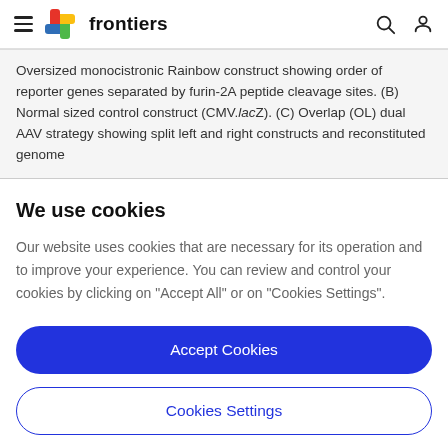frontiers
Oversized monocistronic Rainbow construct showing order of reporter genes separated by furin-2A peptide cleavage sites. (B) Normal sized control construct (CMV.lacZ). (C) Overlap (OL) dual AAV strategy showing split left and right constructs and reconstituted genome
We use cookies
Our website uses cookies that are necessary for its operation and to improve your experience. You can review and control your cookies by clicking on "Accept All" or on "Cookies Settings".
Accept Cookies
Cookies Settings